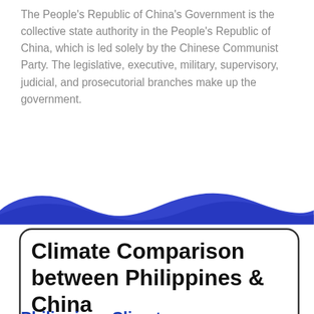The People's Republic of China's Government is the collective state authority in the People's Republic of China, which is led solely by the Chinese Communist Party. The legislative, executive, military, supervisory, judicial, and prosecutorial branches make up the government.
[Figure (illustration): Blue wave/divider graphic separating sections]
Climate Comparison between Philippines & China
Philippines Climate
The Philippines has a tropical and marine climate. It is marked by high temperatures, high humidity, and a lot of rain.
The coldest month is January, with a mean temperature of 25.5 degrees Celsius, and the warmest month is May, with a